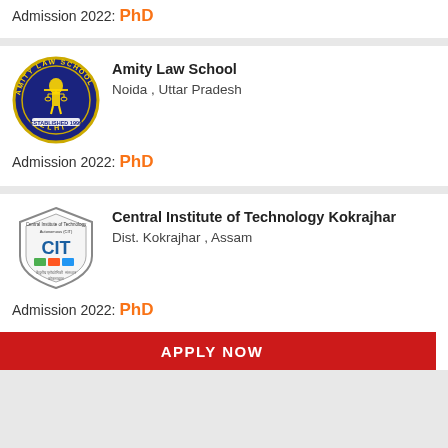Admission 2022: PhD
[Figure (logo): Amity Law School Delhi circular logo with blue and gold colors]
Amity Law School
Noida , Uttar Pradesh
Admission 2022: PhD
[Figure (logo): Central Institute of Technology Kokrajhar shield-shaped logo]
Central Institute of Technology Kokrajhar
Dist. Kokrajhar , Assam
Admission 2022: PhD
APPLY NOW